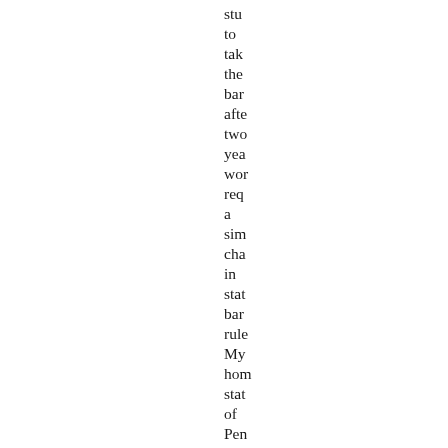stu to take the bar afte two yea wor requ a sim cha in stat bar rule My hon stat of Pen for